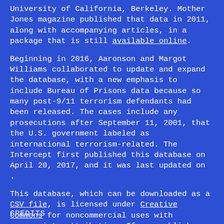University of California, Berkeley. Mother Jones magazine published that data in 2011, along with accompanying articles, in a package that is still available online.
Beginning in 2016, Aaronson and Margot Williams collaborated to update and expand the database, with a new emphasis to include Bureau of Prisons data because so many post-9/11 terrorism defendants had been released. The cases include any prosecutions after September 11, 2001, that the U.S. government labeled as international terrorism-related. The Intercept first published this database on April 20, 2017, and it was last updated on .
This database, which can be downloaded as a CSV file, is licensed under Creative Commons for noncommercial uses with appropriate attribution. If you publish this database, in part or whole, you must credit Trevor Aaronson and Margot Williams.
CREDITS